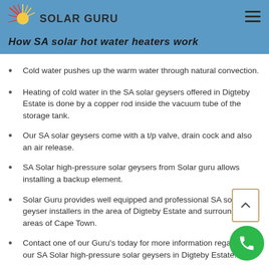Solar Guru
How SA solar hot water heaters work
Cold water pushes up the warm water through natural convection.
Heating of cold water in the SA solar geysers offered in Digteby Estate is done by a copper rod inside the vacuum tube of the storage tank.
Our SA solar geysers come with a t/p valve, drain cock and also an air release.
SA Solar high-pressure solar geysers from Solar guru allows installing a backup element.
Solar Guru provides well equipped and professional SA solar geyser installers in the area of Digteby Estate and surrounding areas of Cape Town.
Contact one of our Guru's today for more information regarding our SA Solar high-pressure solar geysers in Digteby Estate.